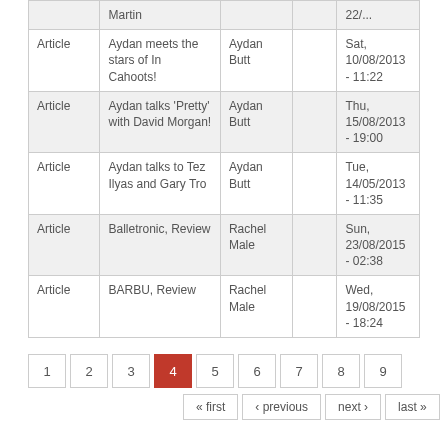| Type | Title | Author |  | Date |
| --- | --- | --- | --- | --- |
|  | Martin |  |  | 22/... |
| Article | Aydan meets the stars of In Cahoots! | Aydan Butt |  | Sat, 10/08/2013 - 11:22 |
| Article | Aydan talks 'Pretty' with David Morgan! | Aydan Butt |  | Thu, 15/08/2013 - 19:00 |
| Article | Aydan talks to Tez Ilyas and Gary Tro | Aydan Butt |  | Tue, 14/05/2013 - 11:35 |
| Article | Balletronic, Review | Rachel Male |  | Sun, 23/08/2015 - 02:38 |
| Article | BARBU, Review | Rachel Male |  | Wed, 19/08/2015 - 18:24 |
Pagination: 1 2 3 4 (current) 5 6 7 8 9 | « first ‹ previous next › last »